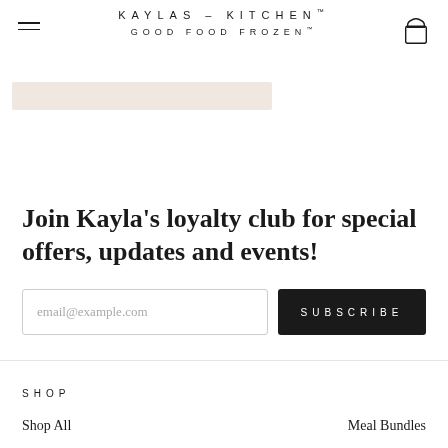KAYLAS – KITCHEN™
GOOD FOOD FROZEN™
[Figure (screenshot): Partial product image strip with beige/peach background color at top of content area]
Join Kayla's loyalty club for special offers, updates and events!
email@example.com  SUBSCRIBE
SHOP
Shop All
Meal Bundles